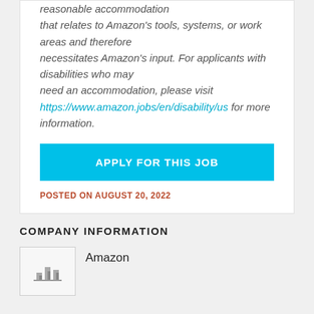reasonable accommodation that relates to Amazon's tools, systems, or work areas and therefore necessitates Amazon's input. For applicants with disabilities who may need an accommodation, please visit https://www.amazon.jobs/en/disability/us for more information.
APPLY FOR THIS JOB
POSTED ON AUGUST 20, 2022
COMPANY INFORMATION
Amazon